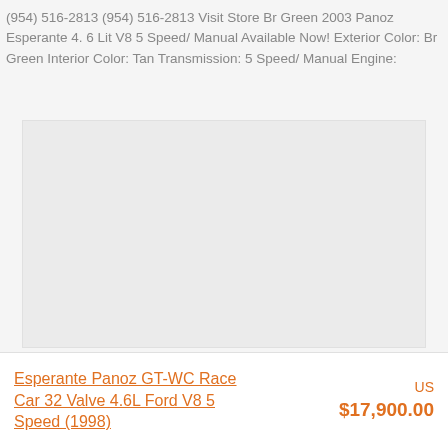(954) 516-2813 (954) 516-2813 Visit Store Br Green 2003 Panoz Esperante 4. 6 Lit V8 5 Speed/ Manual Available Now! Exterior Color: Br Green Interior Color: Tan Transmission: 5 Speed/ Manual Engine:
[Figure (photo): Large image placeholder area (light gray rectangle), likely a vehicle photo that did not load]
Esperante Panoz GT-WC Race Car 32 Valve 4.6L Ford V8 5 Speed (1998)
US $17,900.00